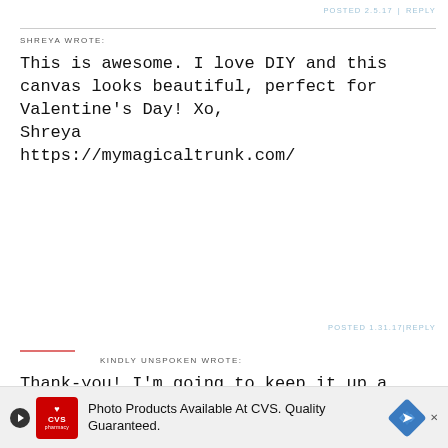POSTED 2.5.17 | REPLY
SHREYA WROTE:
This is awesome. I love DIY and this canvas looks beautiful, perfect for Valentine's Day! Xo,
Shreya
https://mymagicaltrunk.com/
POSTED 1.31.17 | REPLY
KINDLY UNSPOKEN WROTE:
Thank-you! I'm going to keep it up a little while longer too! 🙂
POSTED 2.5.17 | REPLY
Photo Products Available At CVS. Quality Guaranteed.